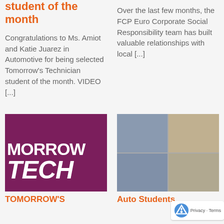student of the month
Congratulations to Ms. Amiot and Katie Juarez in Automotive for being selected Tomorrow's Technician student of the month. VIDEO [...]
Over the last few months, the FCP Euro Corporate Social Responsibility team has built valuable relationships with local [...]
[Figure (logo): Tomorrow's Technician logo — dark magenta/purple background with white bold text reading 'MORROW TECH']
TOMORROW'S
[Figure (photo): Grid of video call screenshots showing multiple people in a virtual meeting]
Auto Students